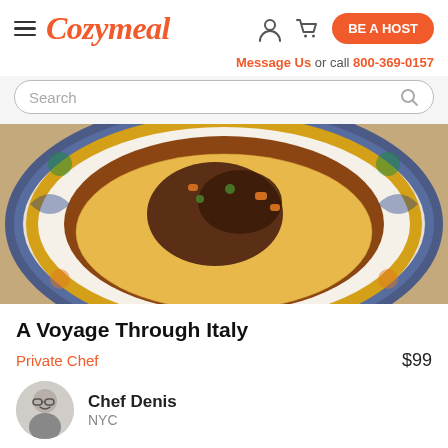Cozymeal — BE A HOST — Message Us or call 800-369-0157
Search
[Figure (photo): Top-down view of an Italian dish — meat braised in sauce served on saffron risotto, displayed on a decorative blue-and-white ceramic plate with floral patterns, set on a burlap surface]
A Voyage Through Italy
Private Chef    $99
Chef Denis
NYC
16 reviews